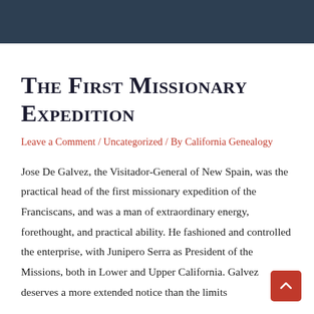The First Missionary Expedition
Leave a Comment / Uncategorized / By California Genealogy
Jose De Galvez, the Visitador-General of New Spain, was the practical head of the first missionary expedition of the Franciscans, and was a man of extraordinary energy, forethought, and practical ability. He fashioned and controlled the enterprise, with Junipero Serra as President of the Missions, both in Lower and Upper California. Galvez deserves a more extended notice than the limits